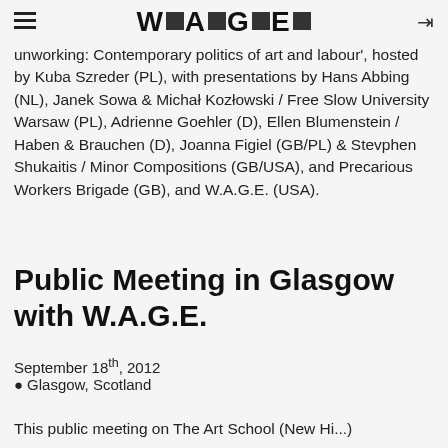W▪A▪G▪E▪
unworking: Contemporary politics of art and labour', hosted by Kuba Szreder (PL), with presentations by Hans Abbing (NL), Janek Sowa & Michał Kozłowski / Free Slow University Warsaw (PL), Adrienne Goehler (D), Ellen Blumenstein / Haben & Brauchen (D), Joanna Figiel (GB/PL) & Stevphen Shukaitis / Minor Compositions (GB/USA), and Precarious Workers Brigade (GB), and W.A.G.E. (USA).
Public Meeting in Glasgow with W.A.G.E.
September 18th, 2012
Glasgow, Scotland
This public meeting on The Art School (New Hi...